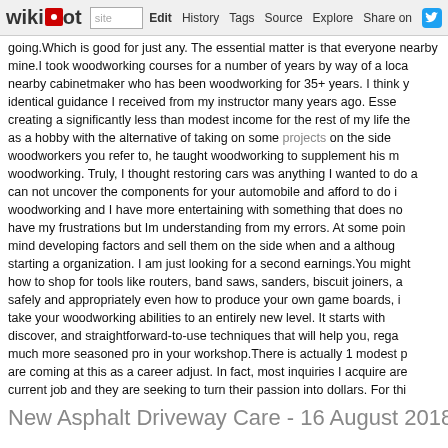wikidot | site | Edit | History | Tags | Source | Explore | Share on Twitter
going.Which is good for just any. The essential matter is that everyone nearby mine.I took woodworking courses for a number of years by way of a local nearby cabinetmaker who has been woodworking for 35+ years. I think y identical guidance I received from my instructor many years ago. Esse creating a significantly less than modest income for the rest of my life the as a hobby with the alternative of taking on some projects on the side woodworkers you refer to, he taught woodworking to supplement his m woodworking. Truly, I thought restoring cars was anything I wanted to do a can not uncover the components for your automobile and afford to do i woodworking and I have more entertaining with something that does no have my frustrations but Im understanding from my errors. At some poin mind developing factors and sell them on the side when and a althoug starting a organization. I am just looking for a second earnings.You might how to shop for tools like routers, band saws, sanders, biscuit joiners, a safely and appropriately even how to produce your own game boards, i take your woodworking abilities to an entirely new level. It starts with discover, and straightforward-to-use techniques that will help you, rega much more seasoned pro in your workshop.There is actually 1 modest p are coming at this as a career adjust. In fact, most inquiries I acquire are current job and they are seeking to turn their passion into dollars. For thi when I began out: hold down a solid job while creating the company on t an insurance coverage policy and it wasn't till I had a lot more function tha that I took the plunge and quit the corporate world. Although this stra guarantees, it will give you at least some additional confidence that you Moreover, you can use your steady paycheck to buy the tools and oth business to run smoothly. - Comments: 0
New Asphalt Driveway Care - 16 August 2018, 13:1